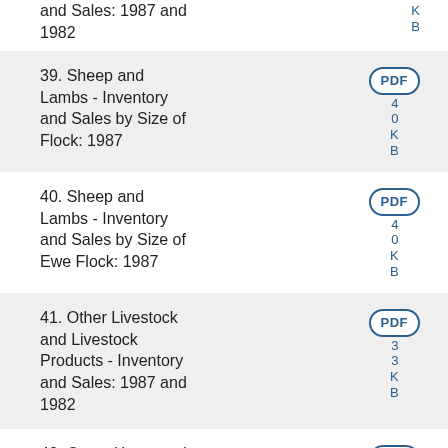and Sales: 1987 and 1982
39. Sheep and Lambs - Inventory and Sales by Size of Flock: 1987
40. Sheep and Lambs - Inventory and Sales by Size of Ewe Flock: 1987
41. Other Livestock and Livestock Products - Inventory and Sales: 1987 and 1982
42. Crops Harvested